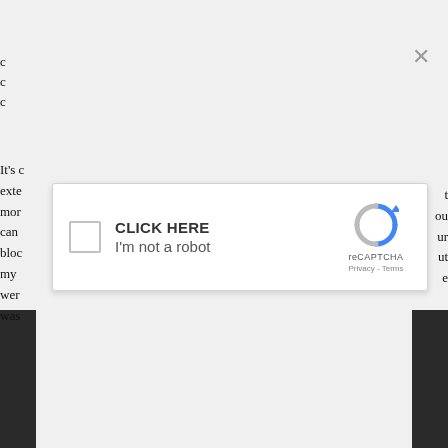[Figure (screenshot): A reCAPTCHA modal dialog overlaid on a webpage. The dialog has a checkbox on the left, 'CLICK HERE' text in bold, 'I'm not a robot' text below it, the reCAPTCHA spinning arrow logo on the right, 'reCAPTCHA' text, and 'Privacy - Terms' links. There is an X close button in the upper right of the background. Partially visible webpage text appears on the left and right edges. Dark sidebar blocks appear at the bottom left and right corners.]
It's c... ext... mor... can... bloc... my... wer... was...
t ...ou ...ur ...ut ...e